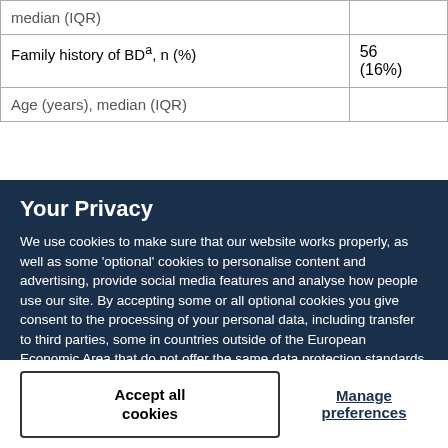| median (IQR) |  |
| Family history of BDa, n (%) | 56 (16%) |
| Age (years), median (IQR) |  |
Your Privacy
We use cookies to make sure that our website works properly, as well as some 'optional' cookies to personalise content and advertising, provide social media features and analyse how people use our site. By accepting some or all optional cookies you give consent to the processing of your personal data, including transfer to third parties, some in countries outside of the European Economic Area that do not offer the same data protection standards as the country where you live. You can decide which optional cookies to accept by clicking on 'Manage Settings', where you can also find more information about how your personal data is processed. Further information can be found in our privacy policy.
Accept all cookies
Manage preferences